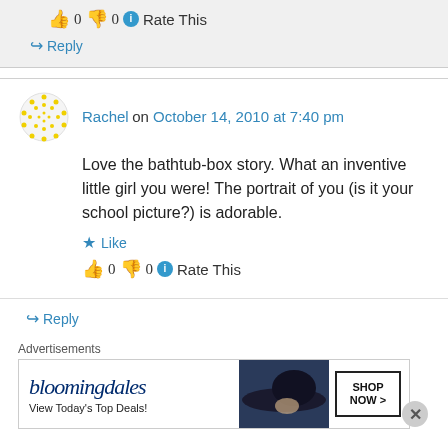👍 0 👎 0 ℹ Rate This
↪ Reply
Rachel on October 14, 2010 at 7:40 pm
Love the bathtub-box story. What an inventive little girl you were! The portrait of you (is it your school picture?) is adorable.
★ Like
👍 0 👎 0 ℹ Rate This
↪ Reply
[Figure (illustration): Bloomingdales advertisement banner: logo text, 'View Today's Top Deals!', woman with hat, SHOP NOW > button]